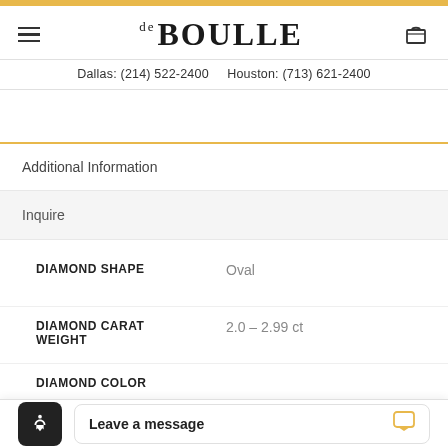[Figure (logo): de BOULLE jewelry store logo with hamburger menu and shopping bag icon]
Dallas: (214) 522-2400    Houston: (713) 621-2400
Additional Information
Inquire
| Attribute | Value |
| --- | --- |
| DIAMOND SHAPE | Oval |
| DIAMOND CARAT WEIGHT | 2.0 – 2.99 ct |
| DIAMOND COLOR |  |
Leave a message